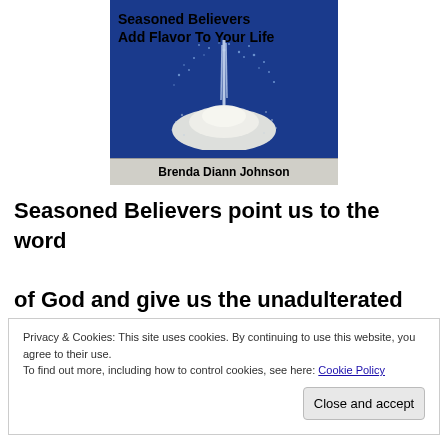[Figure (illustration): Book cover for 'Seasoned Believers Add Flavor To Your Life' by Brenda Diann Johnson. Blue background with salt/spray imagery and white salt pile. Author name in gray bar at bottom.]
Seasoned Believers point us to the word of God and give us the unadulterated
Privacy & Cookies: This site uses cookies. By continuing to use this website, you agree to their use.
To find out more, including how to control cookies, see here: Cookie Policy
Close and accept